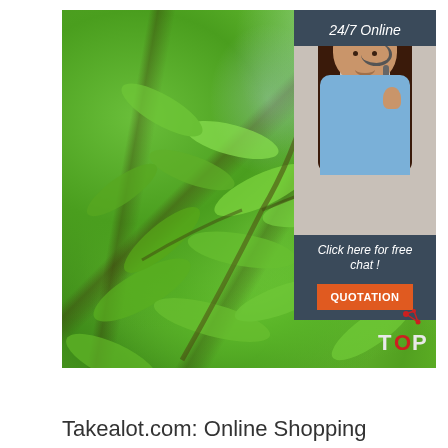[Figure (photo): A close-up photo of green tropical tree leaves with branches against a light sky background. Overlaid in the top-right corner is a customer service chat widget with a dark blue-grey background showing '24/7 Online' header, a smiling female customer service agent wearing a headset, text 'Click here for free chat!', and an orange 'QUOTATION' button. A 'TOP' logo appears in the bottom-right of the image.]
Takealot.com: Online Shopping